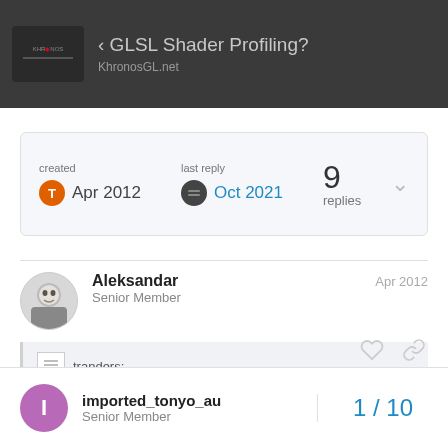GLSL Shader Profiling? — Khronos GL forum
created Apr 2012  last reply Oct 2021  9 replies
Aleksandar
Senior Member
Apr 2012
tranders:
The are tools for D3D, but I don't see anything for OpenGL.
EXACTLY!!! 😕
imported_tonyo_au
Senior Member
1 / 10